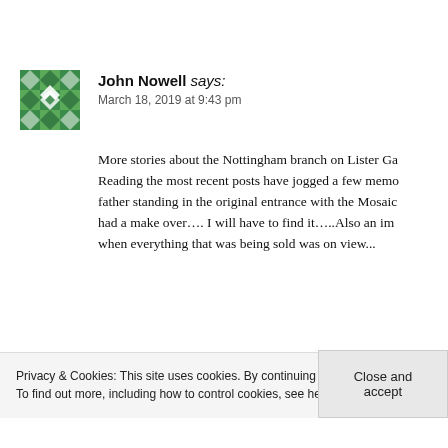[Figure (illustration): Green and white geometric/mosaic avatar icon for user John Nowell]
John Nowell says: March 18, 2019 at 9:43 pm
More stories about the Nottingham branch on Lister Ga... Reading the most recent posts have jogged a few memo... father standing in the original entrance with the Mosaic... had a make over…. I will have to find it…..Also an im... when everything that was being sold was on view...
Privacy & Cookies: This site uses cookies. By continuing to use this website, you agree to their use.
To find out more, including how to control cookies, see here: Cookie Policy
Close and accept